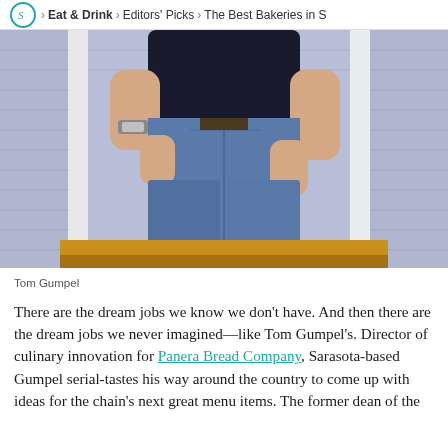S > Eat & Drink > Editors' Picks > The Best Bakeries in S
[Figure (photo): Photo of Tom Gumpel from torso down, wearing jeans and a dark shirt, standing in front of a purple building doorway]
Tom Gumpel
There are the dream jobs we know we don’t have. And then there are the dream jobs we never imagined—like Tom Gumpel’s. Director of culinary innovation for Panera Bread Company, Sarasota-based Gumpel serial-tastes his way around the country to come up with ideas for the chain’s next great menu items. The former dean of the